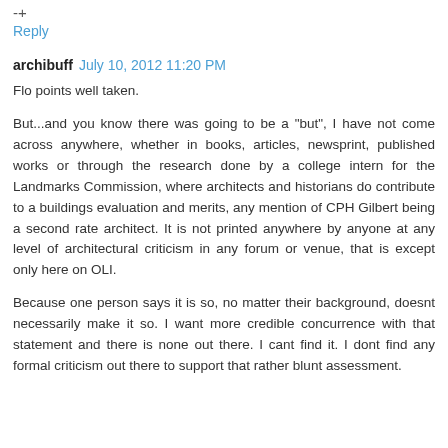-+
Reply
archibuff  July 10, 2012 11:20 PM
Flo points well taken.
But...and you know there was going to be a "but", I have not come across anywhere, whether in books, articles, newsprint, published works or through the research done by a college intern for the Landmarks Commission, where architects and historians do contribute to a buildings evaluation and merits, any mention of CPH Gilbert being a second rate architect. It is not printed anywhere by anyone at any level of architectural criticism in any forum or venue, that is except only here on OLI.
Because one person says it is so, no matter their background, doesnt necessarily make it so. I want more credible concurrence with that statement and there is none out there. I cant find it. I dont find any formal criticism out there to support that rather blunt assessment.